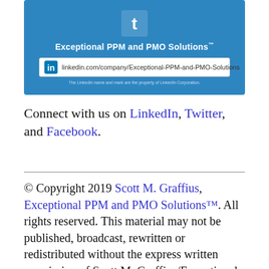[Figure (logo): LinkedIn company page banner for Exceptional PPM and PMO Solutions with logo, tagline, and URL box on blue background]
Connect with us on LinkedIn, Twitter, and Facebook.
© Copyright 2019 Scott M. Graffius, Exceptional PPM and PMO Solutions™. All rights reserved. This material may not be published, broadcast, rewritten or redistributed without the express written permission of Scott M. Graffius/Exceptional